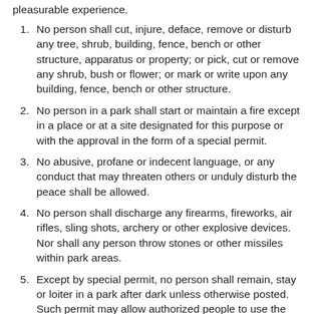pleasurable experience.
No person shall cut, injure, deface, remove or disturb any tree, shrub, building, fence, bench or other structure, apparatus or property; or pick, cut or remove any shrub, bush or flower; or mark or write upon any building, fence, bench or other structure.
No person in a park shall start or maintain a fire except in a place or at a site designated for this purpose or with the approval in the form of a special permit.
No abusive, profane or indecent language, or any conduct that may threaten others or unduly disturb the peace shall be allowed.
No person shall discharge any firearms, fireworks, air rifles, sling shots, archery or other explosive devices. Nor shall any person throw stones or other missiles within park areas.
Except by special permit, no person shall remain, stay or loiter in a park after dark unless otherwise posted. Such permit may allow authorized people to use the facilities in accordance with the specifications of the permit issued.